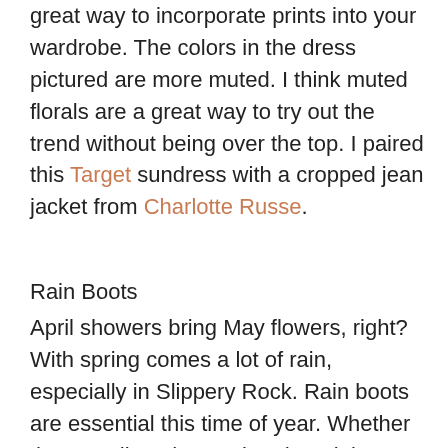great way to incorporate prints into your wardrobe. The colors in the dress pictured are more muted. I think muted florals are a great way to try out the trend without being over the top. I paired this Target sundress with a cropped jean jacket from Charlotte Russe.
Rain Boots
April showers bring May flowers, right? With spring comes a lot of rain, especially in Slippery Rock. Rain boots are essential this time of year. Whether they're tall or short, printed or plain, matte or shiny, if you want to keep your feet dry while still looking fashionable this season, I suggest getting your hands on a pair. I bought this pair of